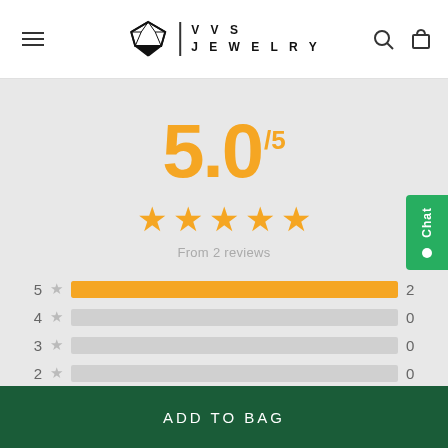VVS JEWELRY
[Figure (infographic): Rating display showing 5.0 out of 5 with 5 gold stars and 'From 2 reviews', plus a breakdown bar chart showing 5-star:2, 4-star:0, 3-star:0, 2-star:0, 1-star:0]
ADD TO BAG